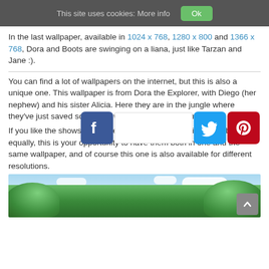This site uses cookies: More info  Ok
In the last wallpaper, available in 1024 x 768, 1280 x 800 and 1366 x 768, Dora and Boots are swinging on a liana, just like Tarzan and Jane :).
You can find a lot of wallpapers on the internet, but this is also a unique one. This wallpaper is from Dora the Explorer, with Diego (her nephew) and his sister Alicia. Here they are in the jungle where they've just saved some little wolves. Mission accomplished.
If you like the shows “Dora the Explorer” and “Go Diego Go” both equally, this is your opportunity to have them both in one and the same wallpaper, and of course this one is also available for different resolutions.
[Figure (screenshot): Partial view of jungle-themed wallpaper from Dora the Explorer / Go Diego Go featuring green jungle trees and sky at bottom of page]